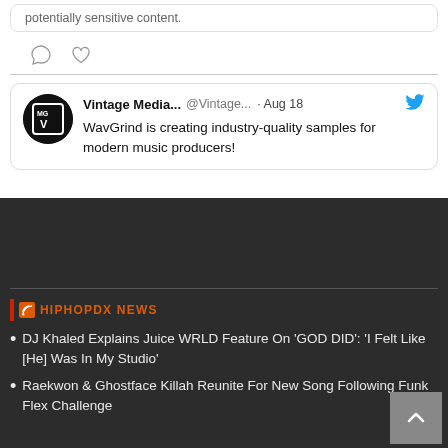potentially sensitive content.
[Figure (screenshot): Comment and like icons (Twitter/social media interaction icons)]
[Figure (screenshot): Tweet card: Vintage Media... @Vintage... · Aug 18 with Twitter bird icon. Avatar shows MG V logo. Tweet text: WavGrind is creating industry-quality samples for modern music producers!]
HIPHOPDX NEWS
DJ Khaled Explains Juice WRLD Feature On 'GOD DID': 'I Felt Like [He] Was In My Studio'
Raekwon & Ghostface Killah Reunite For New Song Following Funk Flex Challenge